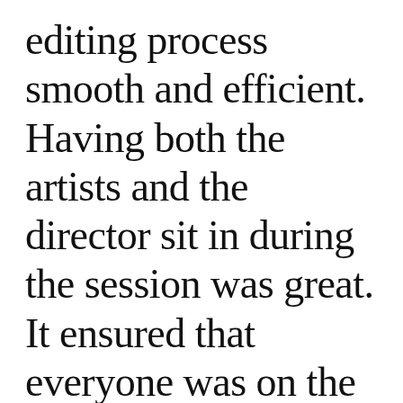editing process smooth and efficient. Having both the artists and the director sit in during the session was great. It ensured that everyone was on the same page and allowed